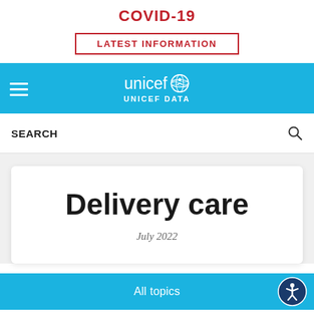COVID-19
LATEST INFORMATION
[Figure (screenshot): UNICEF DATA navigation bar with hamburger menu icon and UNICEF globe logo]
SEARCH
Delivery care
July 2022
All topics